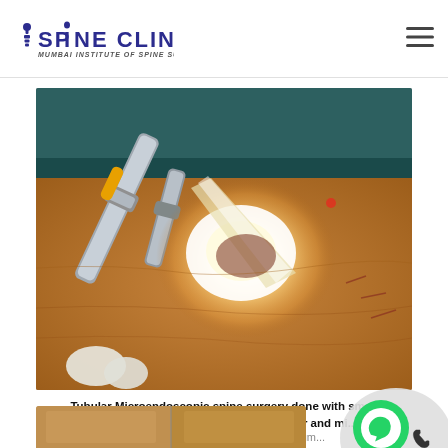SPINE CLINIC — Mumbai Institute Of Spine Surgery
[Figure (photo): Close-up photo of tubular microendoscopic spine surgery in progress, showing surgical retractor instrument with bright operating light illuminating the incision area on patient skin]
Tubular Microendoscopic spine surgery done with small incision in spine using tubular retractor and mi... Dr. Vishal Kundnani at spine clinic Mum...
[Figure (photo): Bottom strip showing partial view of another surgical procedure photo]